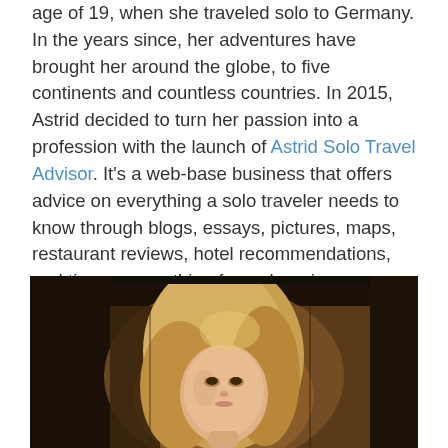age of 19, when she traveled solo to Germany. In the years since, her adventures have brought her around the globe, to five continents and countless countries. In 2015, Astrid decided to turn her passion into a profession with the launch of Astrid Solo Travel Advisor. It's a web-base business that offers advice on everything a solo traveler needs to know through blogs, essays, pictures, maps, restaurant reviews, hotel recommendations, and tips on everything from changing currency to haggling with merchants in the market at Marrakesh.
[Figure (photo): Portrait photo of a blonde woman looking upward, photographed in a dark indoor setting with warm ambient lighting. The subject has long blonde hair and light skin, and appears to be middle-aged.]